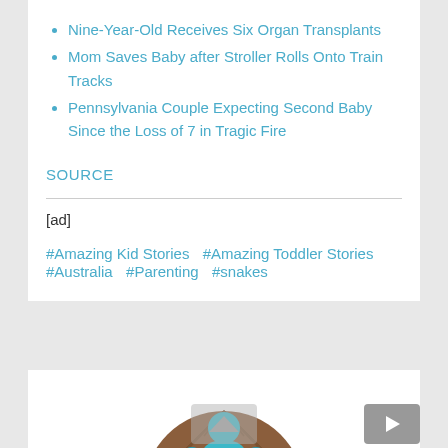Nine-Year-Old Receives Six Organ Transplants
Mom Saves Baby after Stroller Rolls Onto Train Tracks
Pennsylvania Couple Expecting Second Baby Since the Loss of 7 in Tragic Fire
SOURCE
[ad]
#Amazing Kid Stories  #Amazing Toddler Stories  #Australia  #Parenting  #snakes
[Figure (logo): A circular logo showing stylized parent and children figures in teal/turquoise color against a brown/dark background, partially cut off at bottom]